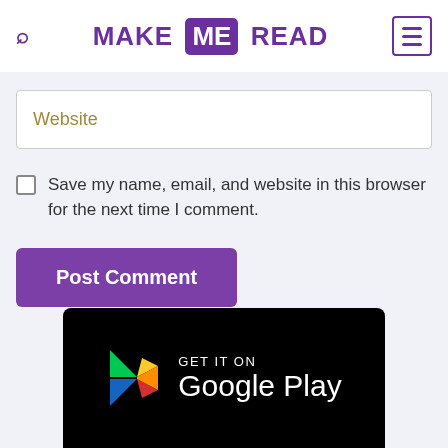MAKE ME READ
Website
Save my name, email, and website in this browser for the next time I comment.
Post Comment
[Figure (logo): Get it on Google Play badge with Play Store triangle logo in green, yellow, blue, red colors on black background]